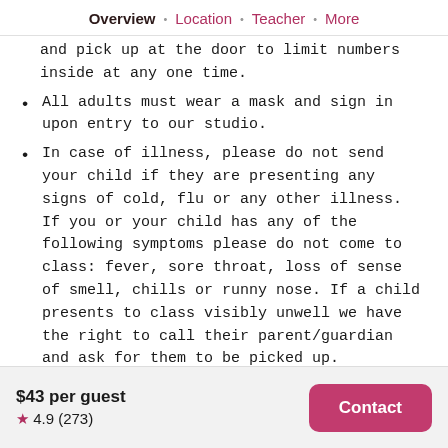Overview · Location · Teacher · More
and pick up at the door to limit numbers inside at any one time.
All adults must wear a mask and sign in upon entry to our studio.
In case of illness, please do not send your child if they are presenting any signs of cold, flu or any other illness. If you or your child has any of the following symptoms please do not come to class: fever, sore throat, loss of sense of smell, chills or runny nose. If a child presents to class visibly unwell we have the right to call their parent/guardian and ask for them to be picked up.
Our studio is a cosy one therefore our classes are all
$43 per guest  ★ 4.9 (273)  Contact